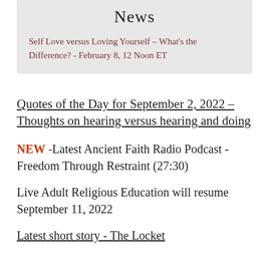News
Self Love versus Loving Yourself – What's the Difference? - February 8, 12 Noon ET
Quotes of the Day for September 2, 2022 – Thoughts on hearing versus hearing and doing
NEW -Latest Ancient Faith Radio Podcast - Freedom Through Restraint (27:30)
Live Adult Religious Education will resume September 11, 2022
Latest short story - The Locket